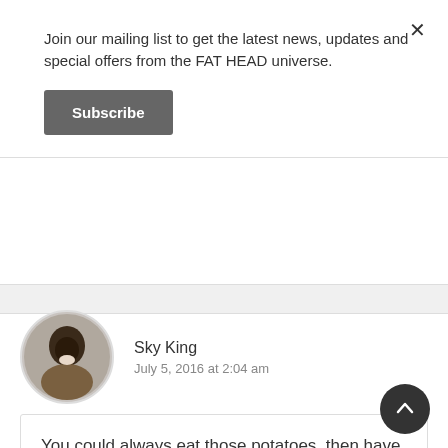Join our mailing list to get the latest news, updates and special offers from the FAT HEAD universe.
Subscribe
Sky King
July 5, 2016 at 2:04 am
You could always eat those potatoes, then have some late night indoor “fireworks” later.

Works for me! 😉

From the Bay State where it all started… a big